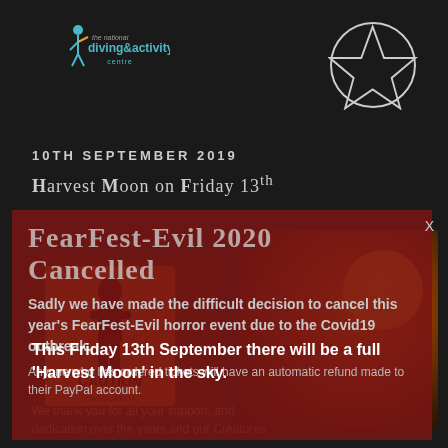[Figure (logo): The National Diving & Activity Centre logo, top left, teal/cyan colored text with stylized figure]
[Figure (illustration): Pentagram symbol (inverted star in circle) top right, white on dark background]
10TH SEPTEMBER 2019
Harvest Moon on Friday 13th
FearFest-Evil 2020 CANCELLED
Sadly we have made the difficult decision to cancel this year's FearFest-Evil horror event due to the Covid19 outbreak.
Anyone who has ordered tickets will have an automatic refund made to their PayPal account.
This Friday 13th September there will be a full ‘Harvest Moon’ in the sky.
We thank you for all your support, and dedication over the years and our Creatures